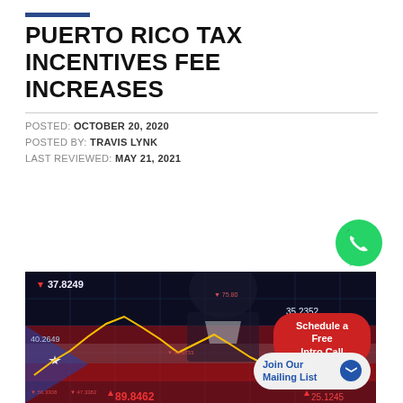PUERTO RICO TAX INCENTIVES FEE INCREASES
POSTED: OCTOBER 20, 2020
POSTED BY: TRAVIS LYNK
LAST REVIEWED: MAY 21, 2021
[Figure (photo): Financial stock market chart overlaid on Puerto Rico flag with a person in background, showing ticker values: 37.8249 (down), 40.2649, 35.2352, 89.8462 (down), 25.1245 (down), with overlay buttons for 'Schedule a Free Intro Call' and 'Join Our Mailing List']